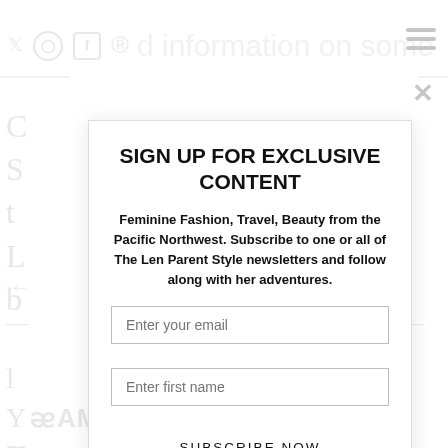[Figure (screenshot): Website screenshot showing a newsletter signup modal overlay on a fashion/lifestyle blog. Background shows partial social media icons (Twitter, Instagram, Facebook, Pinterest), partial text 'd information on some', hamburger menu icon, close (X) button, and partial letters from background content. The modal contains a title, description, two input fields, and a subscribe button.]
SIGN UP FOR EXCLUSIVE CONTENT
Feminine Fashion, Travel, Beauty from the Pacific Northwest. Subscribe to one or all of The Len Parent Style newsletters and follow along with her adventures.
Enter your email
Enter first name
SUBSCRIBE NOW